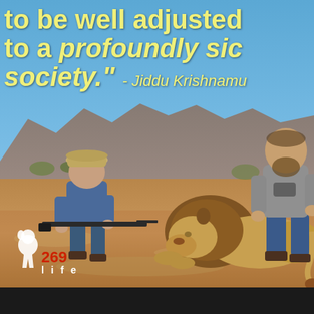[Figure (photo): Outdoor hunting scene with a man and young child posing with a dead lion on dry African savanna ground. Mountains visible in background. Child holds a rifle. Blue sky overhead.]
to be well adjusted to a profoundly sick society." - Jiddu Krishnamurti
[Figure (logo): 269 life animal rights organization logo — white stylized calf silhouette with '269' in red and 'life' in white text]